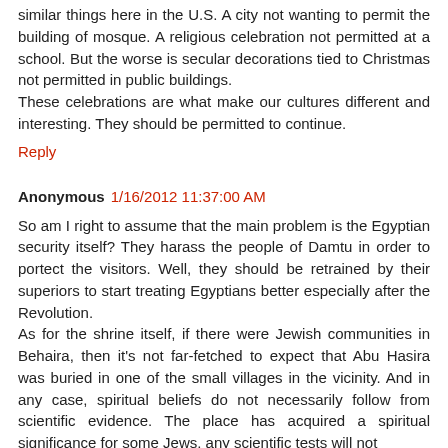similar things here in the U.S. A city not wanting to permit the building of mosque. A religious celebration not permitted at a school. But the worse is secular decorations tied to Christmas not permitted in public buildings. These celebrations are what make our cultures different and interesting. They should be permitted to continue.
Reply
Anonymous 1/16/2012 11:37:00 AM
So am I right to assume that the main problem is the Egyptian security itself? They harass the people of Damtu in order to portect the visitors. Well, they should be retrained by their superiors to start treating Egyptians better especially after the Revolution. As for the shrine itself, if there were Jewish communities in Behaira, then it's not far-fetched to expect that Abu Hasira was buried in one of the small villages in the vicinity. And in any case, spiritual beliefs do not necessarily follow from scientific evidence. The place has acquired a spiritual significance for some Jews, any scientific tests will not